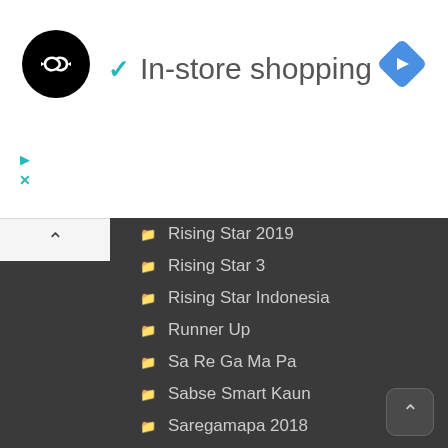[Figure (logo): Black circular logo with a white infinity-like double-arrow symbol inside]
✓ In-store shopping
[Figure (other): Blue diamond-shaped navigation icon with a white right-arrow]
Rising Star 2019
Rising Star 3
Rising Star Indonesia
Runner Up
Sa Re Ga Ma Pa
Sabse Smart Kaun
Saregamapa 2018
Sms
Sonyliv
Ssj 6
Star Tv
Super 16